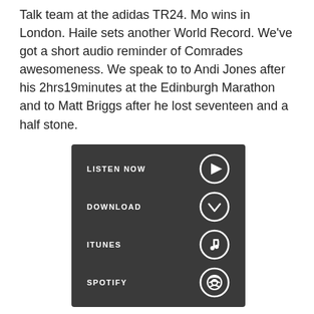Talk team at the adidas TR24. Mo wins in London. Haile sets another World Record. We've got a short audio reminder of Comrades awesomeness. We speak to to Andi Jones after his 2hrs19minutes at the Edinburgh Marathon and to Matt Briggs after he lost seventeen and a half stone.
[Figure (infographic): Dark grey podcast player widget with four rows: LISTEN NOW (play button icon), DOWNLOAD (down chevron in circle icon), ITUNES (music note icon), SPOTIFY (Spotify logo icon)]